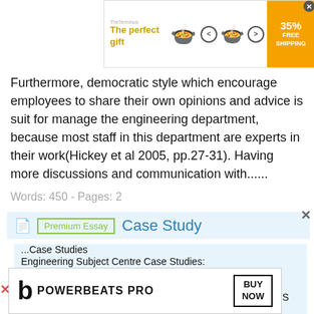[Figure (other): Advertisement banner for 'The perfect gift' with navigation arrows, bowl image, and 35% FREE SHIPPING discount box]
Furthermore, democratic style which encourage employees to share their own opinions and advice is suit for manage the engineering department, because most staff in this department are experts in their work(Hickey et al 2005, pp.27-31). Having more discussions and communication with......
Words: 450 - Pages: 2
Case Study
...Case Studies
Engineering Subject Centre Case Studies:
Four Mini Case Studies in  Entrepreneurship
February 2006 ·Authorship
These case studies were commissioned by the Engineering S by:
[Figure (other): Beats Powerbeats Pro advertisement banner with BUY NOW button]